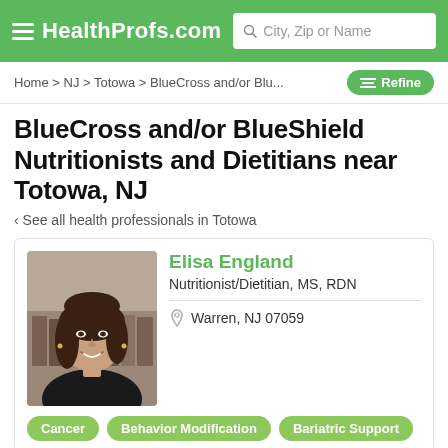HealthProfs.com
Home > NJ > Totowa > BlueCross and/or Blu...
BlueCross and/or BlueShield Nutritionists and Dietitians near Totowa, NJ
< See all health professionals in Totowa
[Figure (photo): Professional headshot of a woman with dark brown hair, wearing a black top, smiling, with bookshelves in the background]
Elisa England
Nutritionist/Dietitian, MS, RDN
Warren, NJ 07059
Cancer
Behavior Modification
Bariatric Support